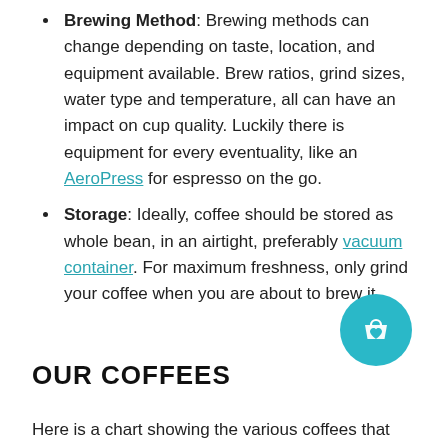Brewing Method: Brewing methods can change depending on taste, location, and equipment available. Brew ratios, grind sizes, water type and temperature, all can have an impact on cup quality. Luckily there is equipment for every eventuality, like an AeroPress for espresso on the go.
Storage: Ideally, coffee should be stored as whole bean, in an airtight, preferably vacuum container. For maximum freshness, only grind your coffee when you are about to brew it.
OUR COFFEES
Here is a chart showing the various coffees that we currently roast and how to compare the different flavour and roast profiles. Feel free to reach out to us using our contact form if you need any help in selecting a coffee, or try our sample pack